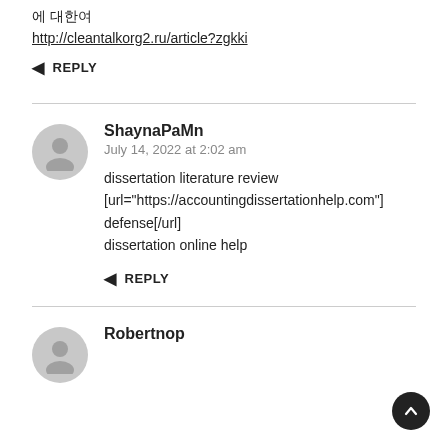에 대한여
http://cleantalkorg2.ru/article?zgkki
← REPLY
ShaynaPaMn
July 14, 2022 at 2:02 am
dissertation literature review [url="https://accountingdissertationhelp.com"] defense[/url] dissertation online help
← REPLY
Robertnop